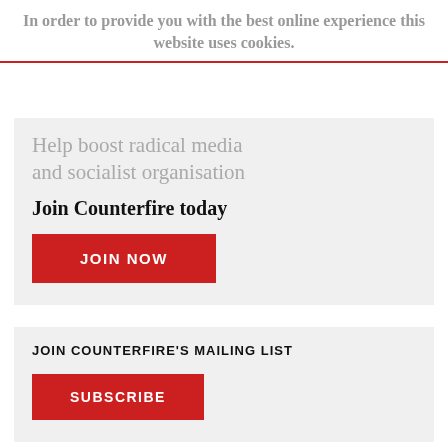In order to provide you with the best online experience this website uses cookies.
Help boost radical media and socialist organisation
Join Counterfire today
JOIN NOW
JOIN COUNTERFIRE'S MAILING LIST
SUBSCRIBE
ENHANCED BY G